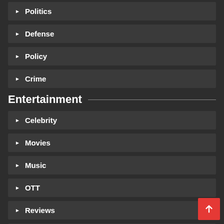Politics
Defense
Policy
Crime
Entertainment
Celebrity
Movies
Music
OTT
Reviews
Television
Hollywood